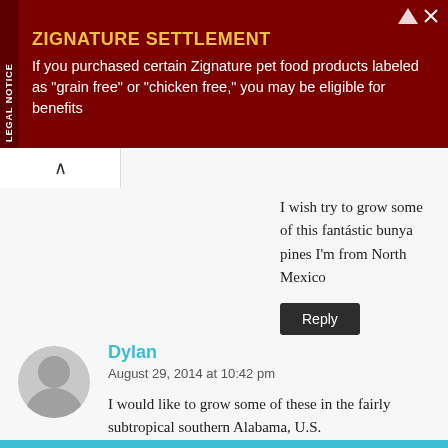[Figure (infographic): Legal notice advertisement banner with dark red background. Title: ZIGNATURE SETTLEMENT. Body: If you purchased certain Zignature pet food products labeled as "grain free" or "chicken free," you may be eligible for benefits. Has a LEGAL NOTICE sidebar label on the left.]
I wish try to grow some of this fantástic bunya pines I'm from North Mexico
Reply
Dylan
August 29, 2014 at 10:42 pm
I would like to grow some of these in the fairly subtropical southern Alabama, U.S.
It freezes sometimes in winter must most of the time its either very mild or quite hot and humid, do you think it would work?
Reply